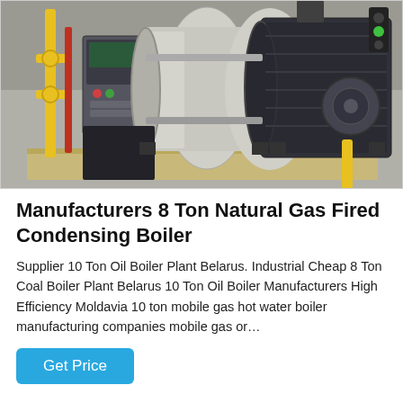[Figure (photo): Industrial boiler room showing two large horizontal gas-fired condensing boilers on a concrete platform, with yellow pipes, red pipes, a control panel, and black insulation covers. The setting is an indoor industrial facility.]
Manufacturers 8 Ton Natural Gas Fired Condensing Boiler
Supplier 10 Ton Oil Boiler Plant Belarus. Industrial Cheap 8 Ton Coal Boiler Plant Belarus 10 Ton Oil Boiler Manufacturers High Efficiency Moldavia 10 ton mobile gas hot water boiler manufacturing companies mobile gas or…